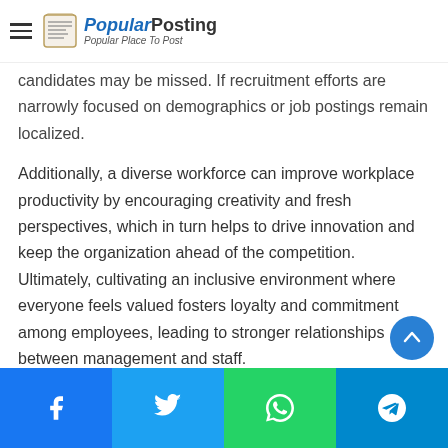Popular Posting — Popular Place To Post
candidates may be missed. If recruitment efforts are narrowly focused on demographics or job postings remain localized.
Additionally, a diverse workforce can improve workplace productivity by encouraging creativity and fresh perspectives, which in turn helps to drive innovation and keep the organization ahead of the competition. Ultimately, cultivating an inclusive environment where everyone feels valued fosters loyalty and commitment among employees, leading to stronger relationships between management and staff.
With clear benefits such as these, it is easy to see why maintaining a diverse workforce is so important for any organization.
Facebook | Twitter | WhatsApp | Telegram share buttons